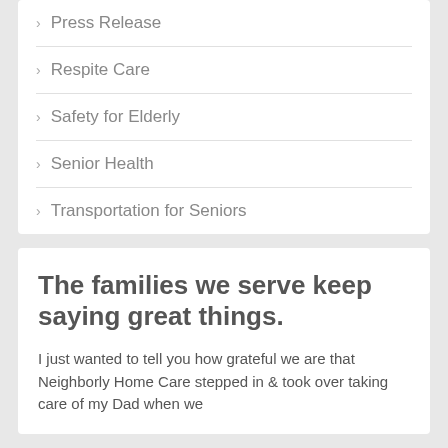Press Release
Respite Care
Safety for Elderly
Senior Health
Transportation for Seniors
The families we serve keep saying great things.
I just wanted to tell you how grateful we are that Neighborly Home Care stepped in & took over taking care of my Dad when we